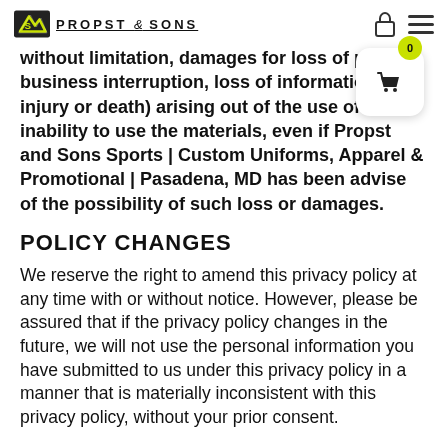PROPST & SONS
without limitation, damages for loss of profits, business interruption, loss of information, injury or death) arising out of the use of or inability to use the materials, even if Propst and Sons Sports | Custom Uniforms, Apparel & Promotional | Pasadena, MD has been advised of the possibility of such loss or damages.
POLICY CHANGES
We reserve the right to amend this privacy policy at any time with or without notice. However, please be assured that if the privacy policy changes in the future, we will not use the personal information you have submitted to us under this privacy policy in a manner that is materially inconsistent with this privacy policy, without your prior consent.